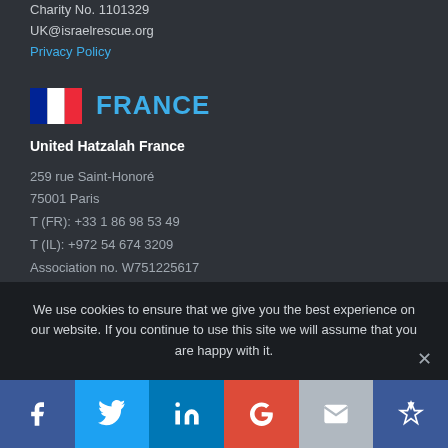Charity No. 1101329
UK@israelrescue.org
Privacy Policy
[Figure (illustration): French flag (blue, white, red vertical stripes) followed by FRANCE heading in blue]
FRANCE
United Hatzalah France
259 rue Saint-Honoré
75001 Paris
T (FR): +33 1 86 98 53 49
T (IL): +972 54 674 3209
Association no. W751225617
samuela@hatzalah.fr
We use cookies to ensure that we give you the best experience on our website. If you continue to use this site we will assume that you are happy with it.
Facebook | Twitter | LinkedIn | Google+ | Email | Crown